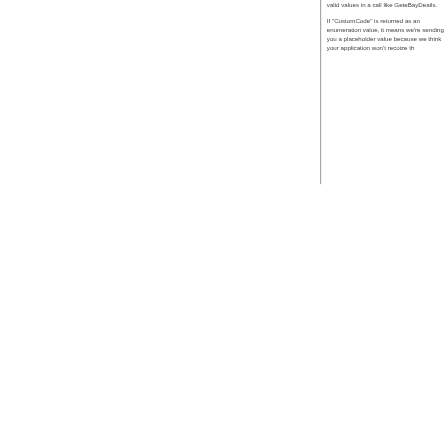valid values in a call like GeteBayDetails. If "CustomCode" is returned as an enumeration value, it means we're sending you a placeholder value because we think your application won't recoize th